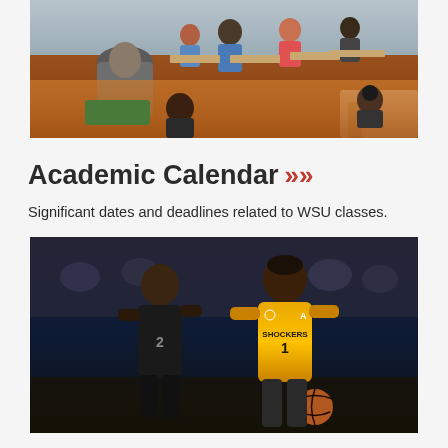[Figure (photo): Classroom scene with students seated at desks, viewed from behind instructor, red/brown floor visible]
Academic Calendar >>
Significant dates and deadlines related to WSU classes.
[Figure (photo): WSU Shockers basketball game, player in gold jersey #1 dribbling ball, defended by player in dark jersey]